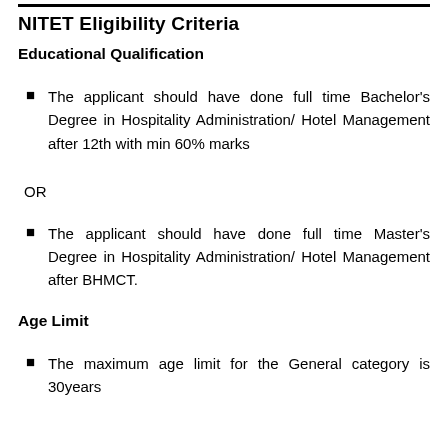NITET Eligibility Criteria
Educational Qualification
The applicant should have done full time Bachelor's Degree in Hospitality Administration/ Hotel Management after 12th with min 60% marks
OR
The applicant should have done full time Master's Degree in Hospitality Administration/ Hotel Management after BHMCT.
Age Limit
The maximum age limit for the General category is 30years